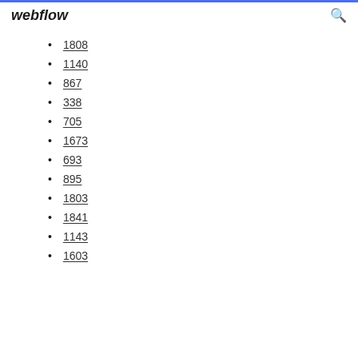webflow
1808
1140
867
338
705
1673
693
895
1803
1841
1143
1603